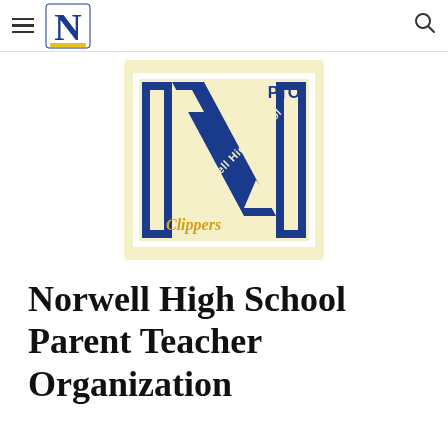N — Norwell High School website header with hamburger menu and search icon
[Figure (logo): Norwell High School PTO logo: a large blue varsity letter N on a pale yellow background, with a diagonal banner reading 'Norwell High School' and 'PTO' in the top right corner, and 'Clippers' in gold script at the bottom left.]
Norwell High School Parent Teacher Organization